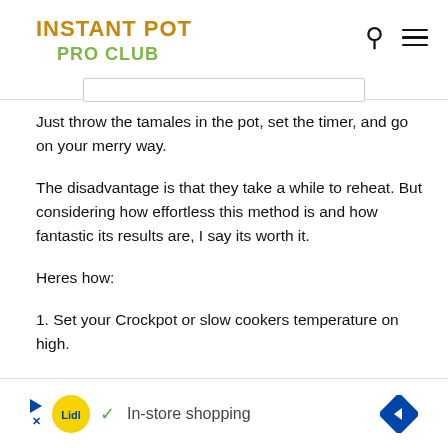INSTANT POT PRO CLUB
Just throw the tamales in the pot, set the timer, and go on your merry way.
The disadvantage is that they take a while to reheat. But considering how effortless this method is and how fantastic its results are, I say its worth it.
Heres how:
1. Set your Crockpot or slow cookers temperature on high.
2. Place the tamales, husks intact, in the pot. Arrange them